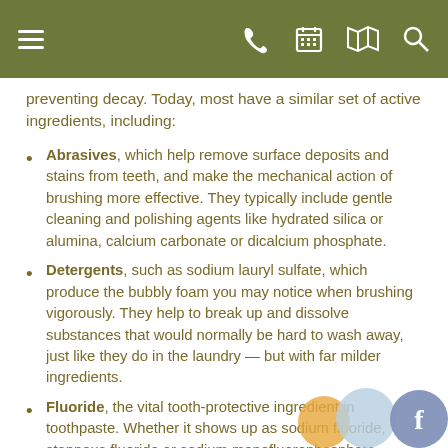Navigation bar with menu, phone, calendar, map, and search icons
preventing decay. Today, most have a similar set of active ingredients, including:
Abrasives, which help remove surface deposits and stains from teeth, and make the mechanical action of brushing more effective. They typically include gentle cleaning and polishing agents like hydrated silica or alumina, calcium carbonate or dicalcium phosphate.
Detergents, such as sodium lauryl sulfate, which produce the bubbly foam you may notice when brushing vigorously. They help to break up and dissolve substances that would normally be hard to wash away, just like they do in the laundry — but with far milder ingredients.
Fluoride, the vital tooth-protective ingredient in toothpaste. Whether it shows up as sodium fluoride, stannous fluoride or sodium monofluorophosphate (MFP), fluoride has been conclusively proven to help strengthen tooth enamel and prevent decay.
Besides their active ingredients, most toothpastes also contain preservatives, binders, and flavorings — without which they would